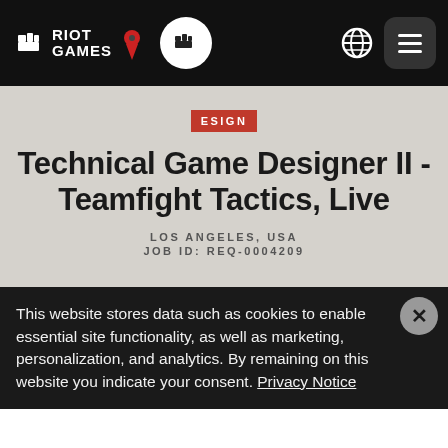[Figure (logo): Riot Games logo with fist icon and text RIOT GAMES in white on black navbar, with pin icon, fist circle icon, globe icon, and hamburger menu]
ESIGN
Technical Game Designer II - Teamfight Tactics, Live
LOS ANGELES, USA
JOB ID: REQ-0004209
This website stores data such as cookies to enable essential site functionality, as well as marketing, personalization, and analytics. By remaining on this website you indicate your consent. Privacy Notice